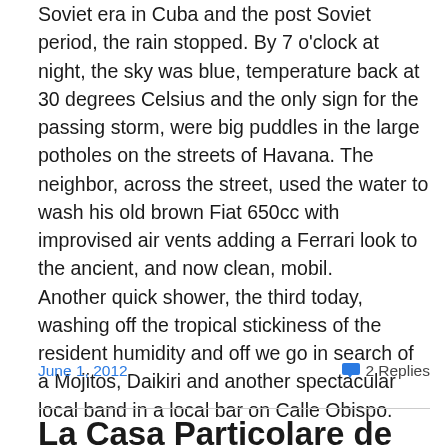Soviet era in Cuba and the post Soviet period, the rain stopped. By 7 o'clock at night, the sky was blue, temperature back at 30 degrees Celsius and the only sign for the passing storm, were big puddles in the large potholes on the streets of Havana. The neighbor, across the street, used the water to wash his old brown Fiat 650cc with improvised air vents adding a Ferrari look to the ancient, and now clean, mobil.
Another quick shower, the third today, washing off the tropical stickiness of the resident humidity and off we go in search of a Mojitos, Daikiri and another spectacular local band in a local bar on Calle Obispo.
June 1, 2012   2 Replies
La Casa Particolare de Senior